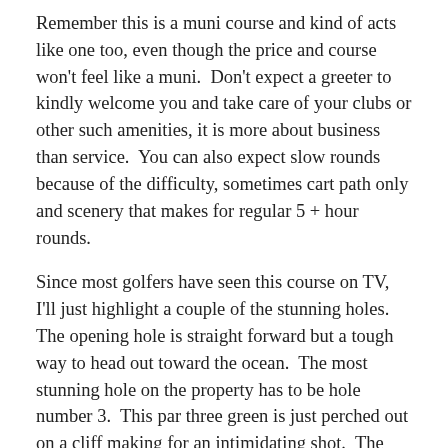Remember this is a muni course and kind of acts like one too, even though the price and course won't feel like a muni.  Don't expect a greeter to kindly welcome you and take care of your clubs or other such amenities, it is more about business than service.  You can also expect slow rounds because of the difficulty, sometimes cart path only and scenery that makes for regular 5 + hour rounds.
Since most golfers have seen this course on TV, I'll just highlight a couple of the stunning holes.  The opening hole is straight forward but a tough way to head out toward the ocean.  The most stunning hole on the property has to be hole number 3.  This par three green is just perched out on a cliff making for an intimidating shot.  The next hole plays along the cliffs and basically screams “don’t pull it left into ocean.”  As you weave your way back inland, the 6th hole is a great par 5 that plays along a jagged ravine.